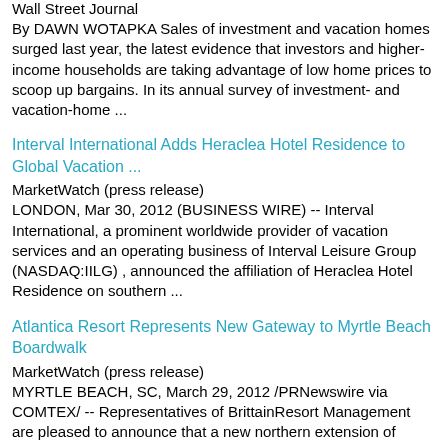Wall Street Journal
By DAWN WOTAPKA Sales of investment and vacation homes surged last year, the latest evidence that investors and higher-income households are taking advantage of low home prices to scoop up bargains. In its annual survey of investment- and vacation-home ...
Interval International Adds Heraclea Hotel Residence to Global Vacation ...
MarketWatch (press release)
LONDON, Mar 30, 2012 (BUSINESS WIRE) -- Interval International, a prominent worldwide provider of vacation services and an operating business of Interval Leisure Group (NASDAQ:IILG) , announced the affiliation of Heraclea Hotel Residence on southern ...
Atlantica Resort Represents New Gateway to Myrtle Beach Boardwalk
MarketWatch (press release)
MYRTLE BEACH, SC, March 29, 2012 /PRNewswire via COMTEX/ -- Representatives of BrittainResort Management are pleased to announce that a new northern extension of